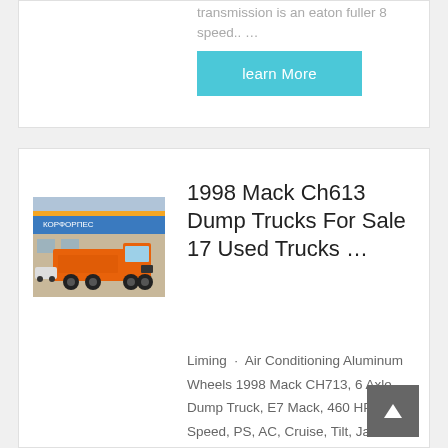transmission is an eaton fuller 8 speed.. …
learn More
[Figure (photo): Orange semi truck/tractor parked in front of a building with blue signage]
1998 Mack Ch613 Dump Trucks For Sale 17 Used Trucks …
Liming · Air Conditioning Aluminum Wheels 1998 Mack CH713, 6 Axle Dump Truck, E7 Mack, 460 HP, 13 Speed, PS, AC, Cruise, Tilt, Jake Brake, Air Ride Cab, Mack Camelback Suspension, Double